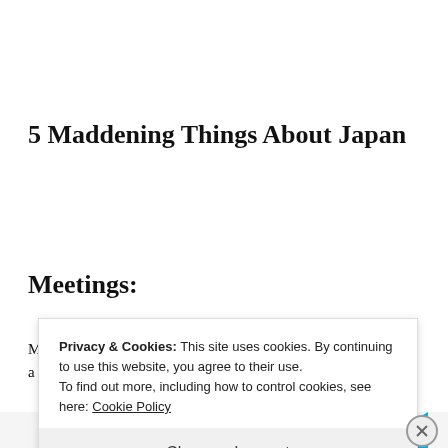5 Maddening Things About Japan
Meetings:
M
a
Privacy & Cookies: This site uses cookies. By continuing to use this website, you agree to their use.
To find out more, including how to control cookies, see here: Cookie Policy
Close and accept